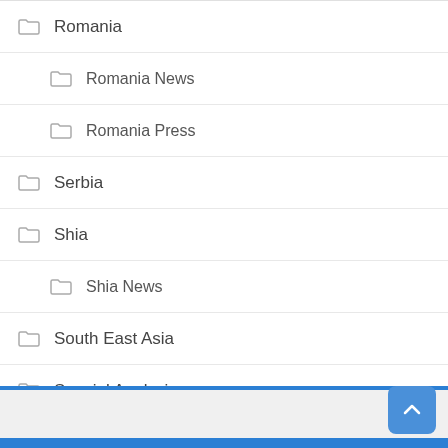Romania
Romania News
Romania Press
Serbia
Shia
Shia News
South East Asia
Special Analysis
Special Reporters
Turkey
Uncategorized